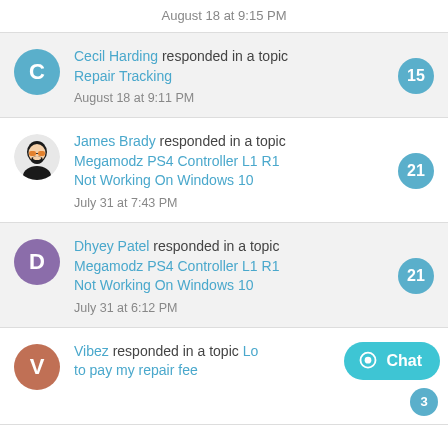August 18 at 9:15 PM
Cecil Harding responded in a topic Repair Tracking — August 18 at 9:11 PM — badge: 15
James Brady responded in a topic Megamodz PS4 Controller L1 R1 Not Working On Windows 10 — July 31 at 7:43 PM — badge: 21
Dhyey Patel responded in a topic Megamodz PS4 Controller L1 R1 Not Working On Windows 10 — July 31 at 6:12 PM — badge: 21
Vibez responded in a topic Lo... to pay my repair fee — badge: 3